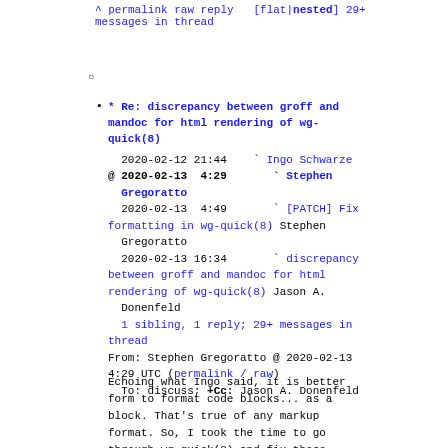^ permalink raw reply  [flat|nested] 29+ messages in thread
○
* Re: discrepancy between groff and mandoc for html rendering of wg-quick(8)
2020-02-12 21:44   ` Ingo Schwarze
@ 2020-02-13  4:29   ` Stephen Gregoratto
  2020-02-13  4:49     ` [PATCH] Fix formatting in wg-quick(8) Stephen Gregoratto
  2020-02-13 16:34     ` discrepancy between groff and mandoc for html rendering of wg-quick(8) Jason A. Donenfeld
  1 sibling, 1 reply; 29+ messages in thread
From: Stephen Gregoratto @ 2020-02-13 4:29 UTC (permalink / raw)
  To: discuss; +Cc: Jason A. Donenfeld
Echoing what Ingo said, it is better form to format code blocks... as a block. That's true of any markup format. So, I took the time to go through wg-quick(8) and fix these sections. I also took the time to